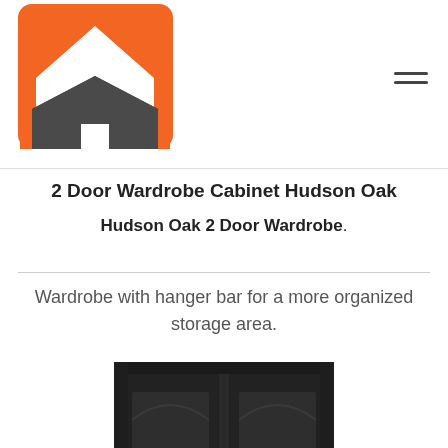[Figure (logo): Home Depot style house logo with orange roof and dark grey house shape with door cutout]
2 Door Wardrobe Cabinet Hudson Oak
Hudson Oak 2 Door Wardrobe.
Wardrobe with hanger bar for a more organized storage area.
[Figure (photo): Dark/black 2 door wardrobe cabinet with arched panel doors, partially visible at bottom of page]